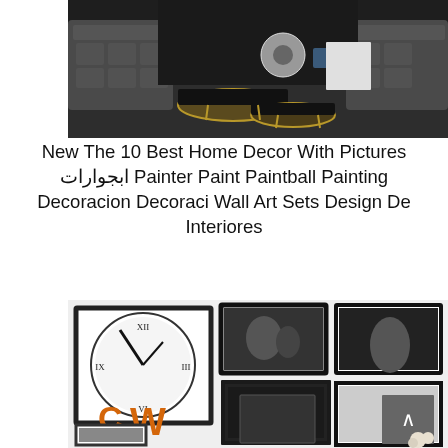[Figure (photo): Black and white photo of a modern living room with tufted gray velvet sofas and round black and gold coffee tables on a dark rug]
New The 10 Best Home Decor With Pictures ابجوارات Painter Paint Paintball Painting Decoracion Decoraci Wall Art Sets Design De Interiores
[Figure (photo): Photo of a gallery wall display with framed black and white photographs, a large clock, decorative patterned mirror frame, and orange block letters CW AW K on a white wall]